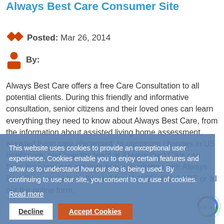Always Best Care Consumer Site
Posted: Mar 26, 2014
By:
Always Best Care offers a free Care Consultation to all potential clients. During this friendly and informative consultation, senior citizens and their loved ones can learn everything they need to know about Always Best Care, from the information about assisted living home assessment, assisted living care placement, to upcoming changes in US healthcare, and how the team at Always Best Care can help. Now you can get your free consultation with Always Best Care simply by calling toll-free 1-(855)-470-CARE or fill out the online form.
This website uses cookies to provide an exceptional user experience. Cookies enable you to enjoy certain features and allow us to understand how our site is being used. By continuing to use our site, you consent to our use of cookies.
Read more
Decline
Accept Cookies